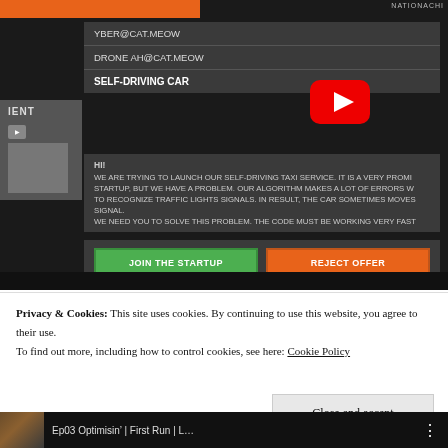[Figure (screenshot): Screenshot of a dark-themed website showing a modal popup with email addresses YBER@CAT.MEOW and DRONE AH@CAT.MEOW, a self-driving car recruitment section with a YouTube play button, body text about launching a self-driving taxi service, and two buttons: JOIN THE STARTUP (green) and REJECT OFFER (orange-red). Left sidebar shows 'IENT' text. Background is dark grey.]
Privacy & Cookies: This site uses cookies. By continuing to use this website, you agree to their use.
To find out more, including how to control cookies, see here: Cookie Policy
Close and accept
Ep03 Optimisin' | First Run | L...